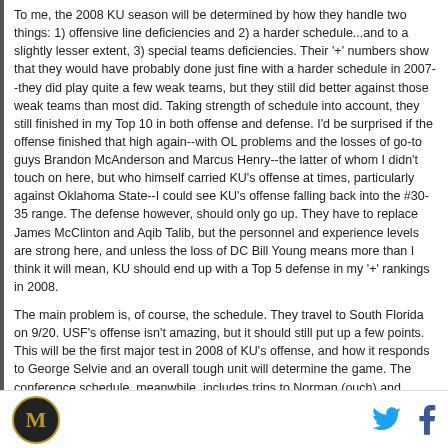To me, the 2008 KU season will be determined by how they handle two things: 1) offensive line deficiencies and 2) a harder schedule...and to a slightly lesser extent, 3) special teams deficiencies.  Their '+' numbers show that they would have probably done just fine with a harder schedule in 2007--they did play quite a few weak teams, but they still did better against those weak teams than most did.  Taking strength of schedule into account, they still finished in my Top 10 in both offense and defense.  I'd be surprised if the offense finished that high again--with OL problems and the losses of go-to guys Brandon McAnderson and Marcus Henry--the latter of whom I didn't touch on here, but who himself carried KU's offense at times, particularly against Oklahoma State--I could see KU's offense falling back into the #30-35 range.  The defense however, should only go up.  They have to replace James McClinton and Aqib Talib, but the personnel and experience levels are strong here, and unless the loss of DC Bill Young means more than I think it will mean, KU should end up with a Top 5 defense in my '+' rankings in 2008.
The main problem is, of course, the schedule.  They travel to South Florida on 9/20.  USF's offense isn't amazing, but it should still put up a few points.  This will be the first major test in 2008 of KU's offense, and how it responds to George Selvie and an overall tough unit will determine the game.  The conference schedule, meanwhile, includes trips to Norman (ouch) and Lincoln (NU will be looking for revenge), and it wouldn't be completely surprising for KU to go 0-2 in those two
M [logo] [Twitter] [Facebook]